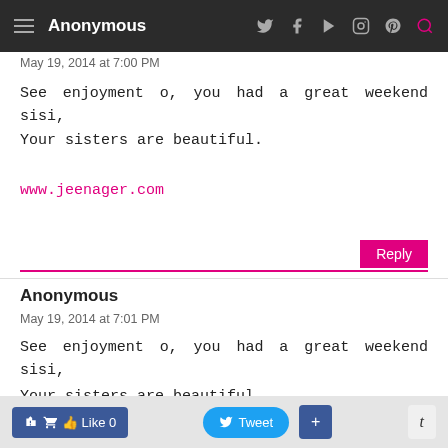Anonymous
May 19, 2014 at 7:00 PM
See enjoyment o, you had a great weekend sisi,
Your sisters are beautiful.
www.jeenager.com
Anonymous
May 19, 2014 at 7:01 PM
See enjoyment o, you had a great weekend sisi,
Your sisters are beautiful.